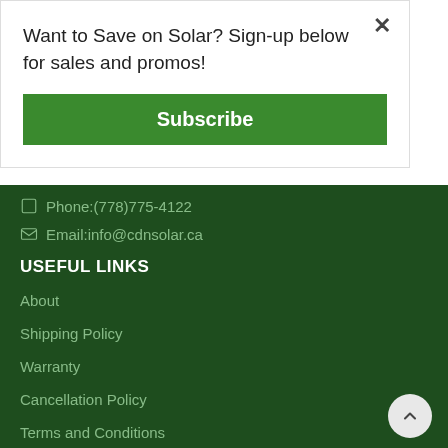Want to Save on Solar? Sign-up below for sales and promos!
Subscribe
Phone:(778)775-4122
Email:info@cdnsolar.ca
USEFUL LINKS
About
Shipping Policy
Warranty
Cancellation Policy
Terms and Conditions
Contact Us